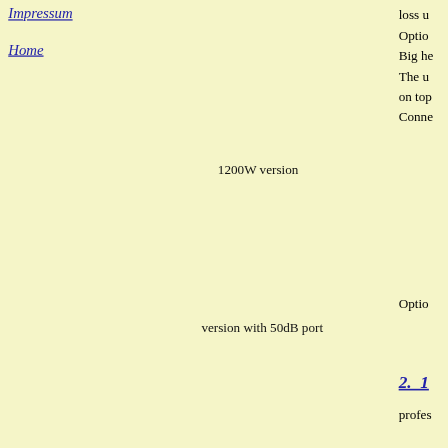Impressum
Home
loss u
Optio
Big he
The u
on top
Conne
1200W version
Option
version with 50dB port
2. 1
profes